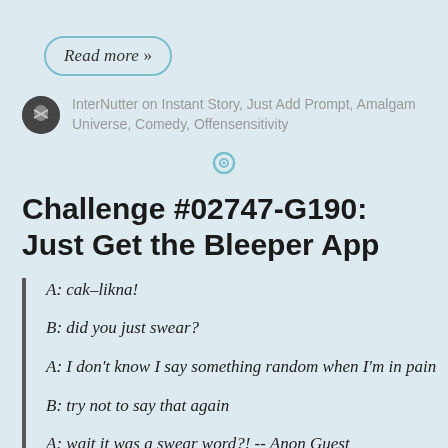Read more »
InterNutter on Instant Story, Just Add Prompt, Amalgam Universe, Comedy, Offensensitivity
Challenge #02747-G190: Just Get the Bleeper App
A: cak-likna!
B: did you just swear?
A: I don't know I say something random when I'm in pain
B: try not to say that again
A: wait it was a swear word?! -- Anon Guest